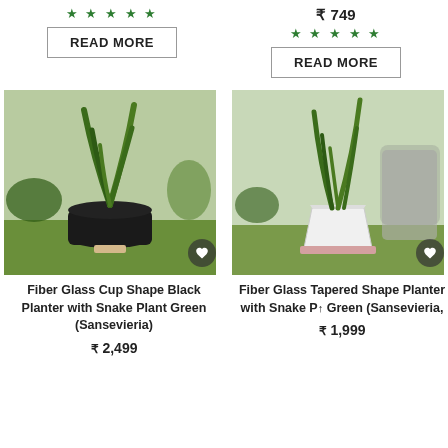[Figure (photo): Five green star rating icons in top left column]
READ MORE
₹ 749
[Figure (photo): Five green star rating icons in top right column]
READ MORE
[Figure (photo): Fiber Glass Cup Shape Black Planter with Snake Plant in an outdoor garden setting]
Fiber Glass Cup Shape Black Planter with Snake Plant Green (Sansevieria)
₹ 2,499
[Figure (photo): Fiber Glass Tapered Shape Planter with Snake Plant in an outdoor garden setting]
Fiber Glass Tapered Shape Planter with Snake P Green (Sansevieria,
₹ 1,999